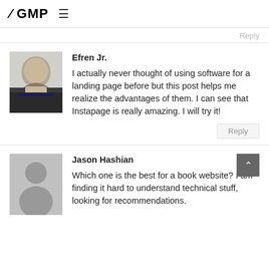/ GMP ≡
Reply
Efren Jr.
I actually never thought of using software for a landing page before but this post helps me realize the advantages of them. I can see that Instapage is really amazing. I will try it!
Reply
Jason Hashian
Which one is the best for a book website? I am finding it hard to understand technical stuff, looking for recommendations.